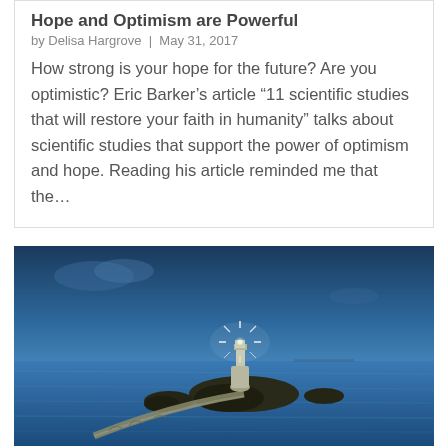Hope and Optimism are Powerful
by Delisa Hargrove | May 31, 2017
How strong is your hope for the future? Are you optimistic? Eric Barker’s article “11 scientific studies that will restore your faith in humanity” talks about scientific studies that support the power of optimism and hope. Reading his article reminded me that the…
[Figure (photo): A lighthouse on a rocky outcrop connected by a winding stone bridge over calm blue ocean water at dusk or night, with a bright star-burst light at the top of the lighthouse tower.]